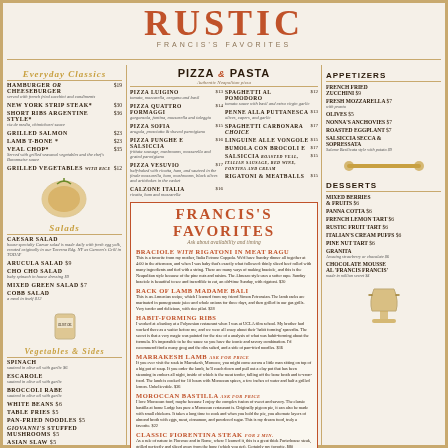RUSTIC
FRANCIS'S FAVORITES
EVERYDAY CLASSICS
PIZZA & PASTA
HAMBURGER or CHEESEBURGER - served with french fries and/or vegetables and condiments - $19
NEW YORK STRIP STEAK* - $30
SHORT RIBS ARGENTINE STYLE* - via de media, chimichurri sauce - $36
GRILLED SALMON - $23
LAMB T-BONE* - $23
VEAL CHOP* - Served with grilled seasonal vegetables and the chef's Boronnaise sauce - $35
GRILLED VEGETABLES with rice - $12
SALADS
CAESAR SALAD
ARUCULA SALAD $9
CHO CHO SALAD - baby spinach in house dressing $9
MIXED GREEN SALAD $7
COBB SALAD - a meal in itself $12
VEGETABLES & SIDES
SPINACH - sauteed in olive oil with garlic $6
ESCAROLE - sauteed in olive oil with garlic
BROCCOLI RABE - sauteed in olive oil with garlic
WHITE BEANS $6
TABLE FRIES $5
PAN-FRIED NOODLES $5
Giovanni's STUFFED MUSHROOMS $5
ASIAN SLAW $5
FRANCIS'S FAVORITES
BRACIOLE with RIGATONI IN MEAT RAGU
RACK of LAMB MADAME BALI
HABIT-FORMING RIBS
MARRAKESH LAMB
MOROCCAN BASTILLA
CLASSIC FIORENTINA STEAK
WHOLE FISH IN SALT
CHICKEN MATTONE
PIZZA LUIGINO - $13
PIZZA QUATTRO FORMAGGI - $14
PIZZA SOFIA - $15
PIZZA FUNGHE E SALSICCIA - $16
PIZZA VESUVIO - $17
CALZONE ITALIA - $16
SPAGHETTI AL POMODORO - $12
PENNE ALLA PUTTANESCA - $13
SPAGHETTI CARBONARA choice - $17
LINGUINE ALLE VONGOLE - $15
BUMOLA CON BROCOLI E - $17
SALSICCIA - $15
RIGATONI & MEATBALLS - $15
APPETIZERS
FRENCH FRIED ZUCCHINI $9
FRESH MOZZARELLA $7 with pronto
OLIVES $5
NONNA'S ANCHOVIES $7
ROASTED EGGPLANT $7
SALSICCIA SECCA & SOPRESSATA - Salame Basilicata style with potato $9
DESSERTS
MIXED BERRIES & FRUITS $6
PANNA COTTA $6
FRENCH LEMON TART $6
RUSTIC FRUIT TART $6
ITALIAN'S CREAM PUFFS $6
PINE NUT TART $6
GRANITA - Amazing strawberry or chocolate $6
CHOCOLATE MOUSSE AL 'FRANCIS FRANCIS'